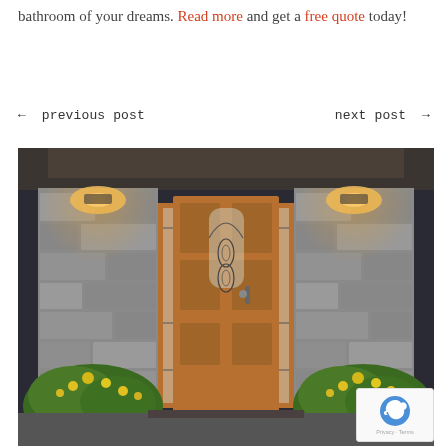bathroom of your dreams. Read more and get a free quote today!
← previous post    next post →
[Figure (photo): Photo of a home entrance with a wooden front door featuring decorative glass sidelites and leaded glass inserts, flanked by stone pillars with warm wall sconce lighting, and yellow flowering bushes on either side of the steps.]